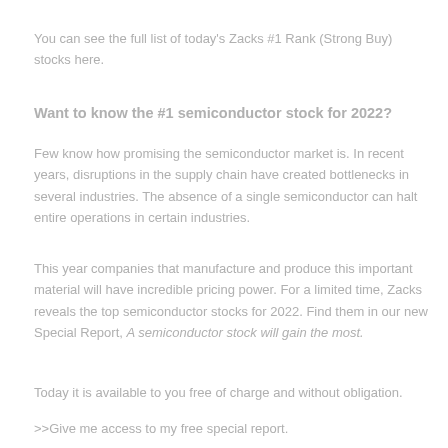You can see the full list of today's Zacks #1 Rank (Strong Buy) stocks here.
Want to know the #1 semiconductor stock for 2022?
Few know how promising the semiconductor market is. In recent years, disruptions in the supply chain have created bottlenecks in several industries. The absence of a single semiconductor can halt entire operations in certain industries.
This year companies that manufacture and produce this important material will have incredible pricing power. For a limited time, Zacks reveals the top semiconductor stocks for 2022. Find them in our new Special Report, A semiconductor stock will gain the most.
Today it is available to you free of charge and without obligation.
>>Give me access to my free special report.